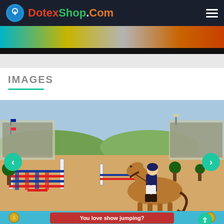DotexShop.Com
[Figure (screenshot): Top banner with colorful gradient strips (cyan, gold, gray, orange, red) followed by black strip]
IMAGES
[Figure (screenshot): 3D equestrian show jumping game screenshot showing a rider on a brown horse in an arena with colorful jump obstacles, crowd in bleachers, French flags decorations. A red banner at bottom reads 'You love show jumping?'. Left and right navigation arrow buttons in teal. Bottom bar in light blue with coin icons and a scroll-to-top button.]